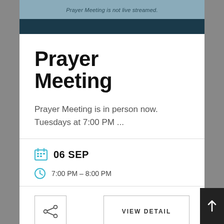Prayer Meeting is not live streamed.
Prayer Meeting
Prayer Meeting is in person now. Tuesdays at 7:00 PM ...
06 SEP
7:00 PM – 8:00 PM
VIEW DETAIL